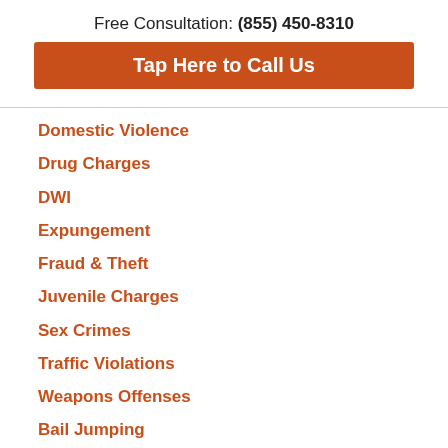Free Consultation: (855) 450-8310
Tap Here to Call Us
Domestic Violence
Drug Charges
DWI
Expungement
Fraud & Theft
Juvenile Charges
Sex Crimes
Traffic Violations
Weapons Offenses
Bail Jumping
Conditional Discharge